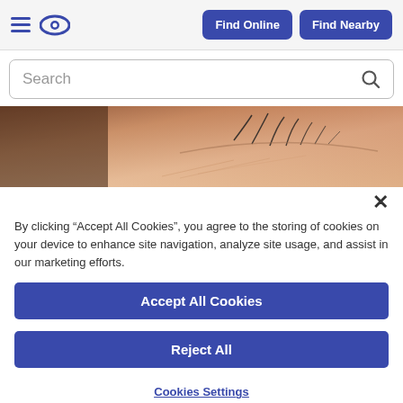Find Online | Find Nearby
[Figure (screenshot): Search bar with magnifying glass icon]
[Figure (photo): Close-up photo of skin near an eye with sparse eyelashes]
By clicking “Accept All Cookies”, you agree to the storing of cookies on your device to enhance site navigation, analyze site usage, and assist in our marketing efforts.
Accept All Cookies
Reject All
Cookies Settings